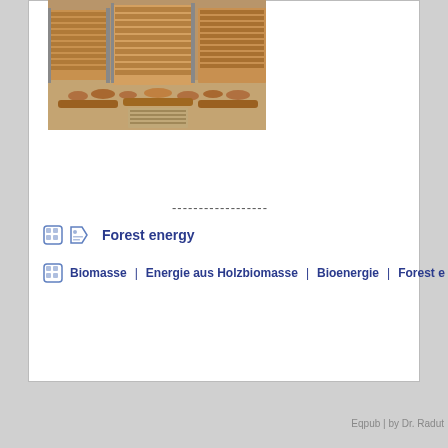[Figure (photo): Stacked timber logs and lumber in a wood processing facility or sawmill yard, showing cut logs arranged in rows]
------------------
Forest energy
Biomasse | Energie aus Holzbiomasse | Bioenergie | Forest e...
Eqpub | by Dr. Radut